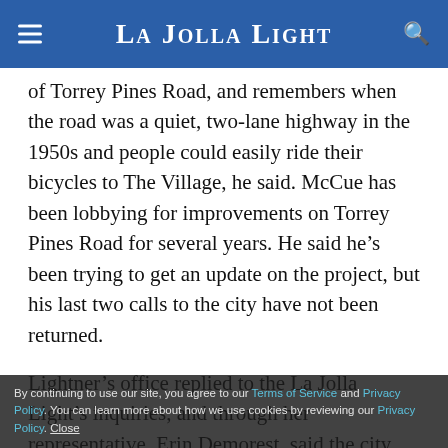La Jolla Light
of Torrey Pines Road, and remembers when the road was a quiet, two-lane highway in the 1950s and people could easily ride their bicycles to The Village, he said. McCue has been lobbying for improvements on Torrey Pines Road for several years. He said he’s been trying to get an update on the project, but his last two calls to the city have not been returned.
Lightner’s office replied to the La Jolla Light’s inquiries, and through her representative, Erin Demorest, said the city has the funding to perform two sidewalk projects in Segment 4, but the plans must be designed. The city received $600,000 from two TransNet funds installments in 2011 and 2015 that will
By continuing to use our site, you agree to our Terms of Service and Privacy Policy. You can learn more about how we use cookies by reviewing our Privacy Policy. Close